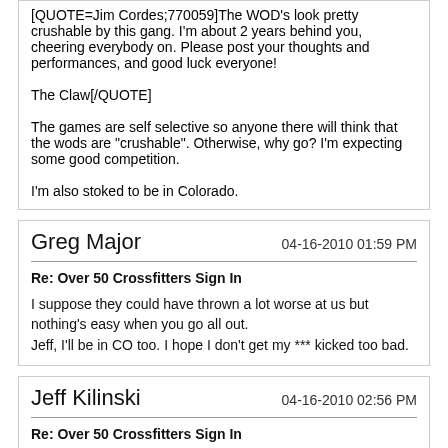[QUOTE=Jim Cordes;770059]The WOD's look pretty crushable by this gang. I'm about 2 years behind you, cheering everybody on. Please post your thoughts and performances, and good luck everyone!

The Claw[/QUOTE]

The games are self selective so anyone there will think that the wods are "crushable". Otherwise, why go? I'm expecting some good competition.

I'm also stoked to be in Colorado.
Greg Major
04-16-2010 01:59 PM
Re: Over 50 Crossfitters Sign In
I suppose they could have thrown a lot worse at us but nothing's easy when you go all out.
Jeff, I'll be in CO too. I hope I don't get my *** kicked too bad.
Jeff Kilinski
04-16-2010 02:56 PM
Re: Over 50 Crossfitters Sign In
[QUOTE=Greg Major;770160]I suppose they could have thrown a lot worse at us but nothing's easy when you go all out.
Jeff, I'll be in CO too. I hope I don't get my *** kicked too bad.